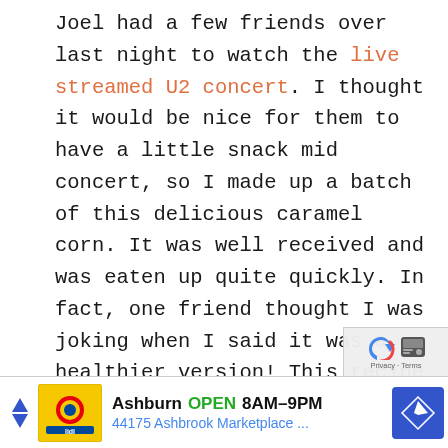Joel had a few friends over last night to watch the live streamed U2 concert. I thought it would be nice for them to have a little snack mid concert, so I made up a batch of this delicious caramel corn. It was well received and was eaten up quite quickly. In fact, one friend thought I was joking when I said it was a healthier version! This recipe uses rapadura, a whole cane sugar, and honey. No white or brown sugar, no corn syrup. Just buttery sweetness.
[Figure (other): Advertisement banner: Lidl store in Ashburn, OPEN 8AM-9PM, 44175 Ashbrook Marketplace, with navigation arrow icon]